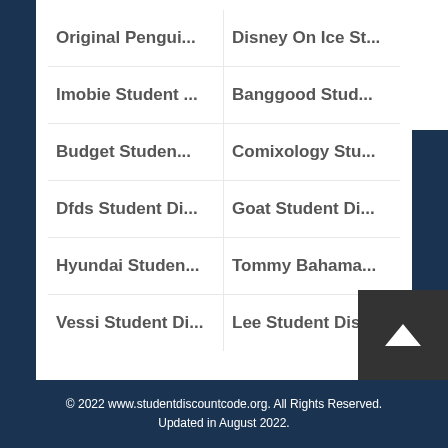Original Pengui...
Disney On Ice St...
Imobie Student ...
Banggood Stud...
Budget Studen...
Comixology Stu...
Dfds Student Di...
Goat Student Di...
Hyundai Studen...
Tommy Bahama...
Vessi Student Di...
Lee Student Dis...
© 2022 www.studentdiscountcode.org. All Rights Reserved. Updated in August 2022.